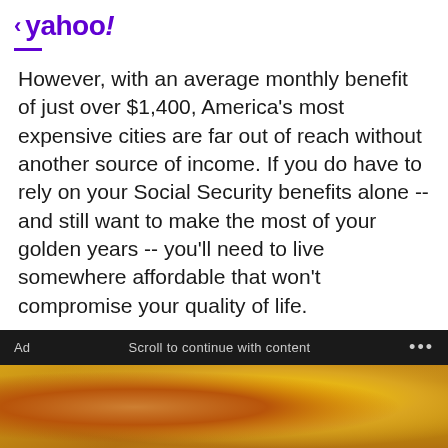< yahoo!
However, with an average monthly benefit of just over $1,400, America's most expensive cities are far out of reach without another source of income. If you do have to rely on your Social Security benefits alone -- and still want to make the most of your golden years -- you'll need to live somewhere affordable that won't compromise your quality of life.
[Figure (photo): Advertisement bar with dark background showing 'Ad', 'Scroll to continue with content', and '...' text, followed by a photo of golden coins and a hand]
Quicken Compare
Latest Refi Rates Are Out. Check These